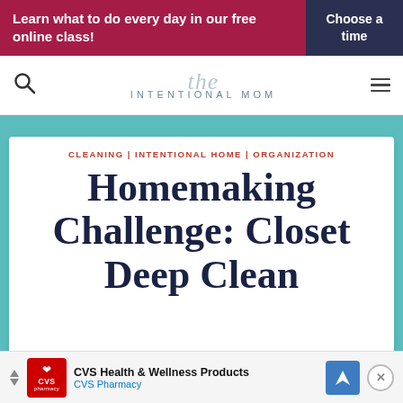Learn what to do every day in our free online class! | Choose a time
[Figure (logo): The Intentional Mom website logo with search and hamburger menu icons]
CLEANING | INTENTIONAL HOME | ORGANIZATION
Homemaking Challenge: Closet Deep Clean
[Figure (infographic): CVS Health & Wellness Products advertisement banner with CVS Pharmacy logo and blue navigation arrow icon]